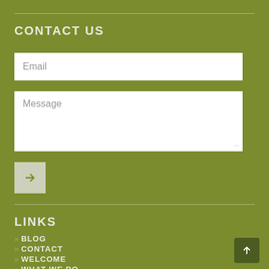CONTACT US
[Figure (screenshot): Email input field (text box) with placeholder text 'Email']
[Figure (screenshot): Message textarea with placeholder text 'Message']
[Figure (screenshot): Submit button with right arrow icon]
LINKS
» BLOG
» CONTACT
» WELCOME
» WHAT WE DO